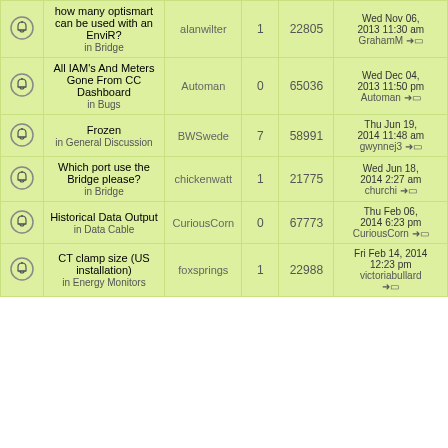|  | Topic | Author | Replies | Views | Last post |
| --- | --- | --- | --- | --- | --- |
| [icon] | how many optismart can be used with an EnviR? in Bridge | alanwilter | 1 | 22805 | Wed Nov 06, 2013 11:30 am GrahamM → |
| [icon] | All IAM's And Meters Gone From CC Dashboard in Bugs | Automan | 0 | 65036 | Wed Dec 04, 2013 11:50 pm Automan → |
| [icon] | Frozen in General Discussion | BWSwede | 7 | 58991 | Thu Jun 19, 2014 11:48 am gwynnej3 → |
| [icon] | Which port use the Bridge please? in Bridge | chickenwatt | 1 | 21775 | Wed Jun 18, 2014 2:27 am churchi → |
| [icon] | Historical Data Output in Data Cable | CuriousCorn | 0 | 67773 | Thu Feb 06, 2014 6:23 pm CuriousCorn → |
| [icon] | CT clamp size (US installation) in Energy Monitors | foxsprings | 1 | 22988 | Fri Feb 14, 2014 12:23 pm victoriabullard → |